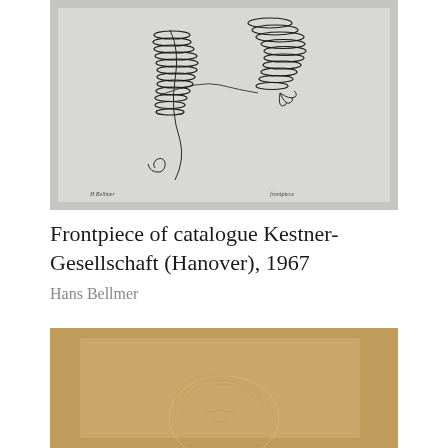[Figure (illustration): Black and white etching/print showing abstract striped figure forms on a light grey background, with handwritten text at the bottom margin. Frontpiece artwork by Hans Bellmer.]
Frontpiece of catalogue Kestner-Gesellschaft (Hanover), 1967
Hans Bellmer
[Figure (illustration): Sketch or drawing on warm brown/tan paper showing a portrait or head of a figure with flowing hair rendered in light pencil or chalk lines.]